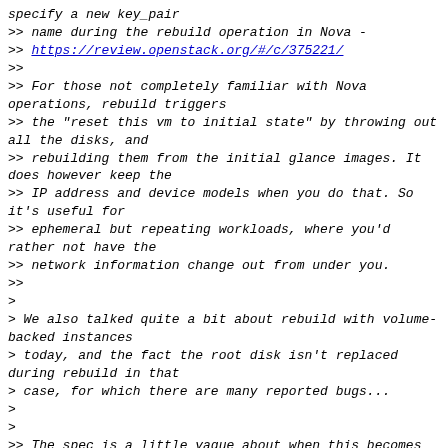specify a new key_pair
>> name during the rebuild operation in Nova -
>> https://review.openstack.org/#/c/375221/
>>
>> For those not completely familiar with Nova operations, rebuild triggers
>> the "reset this vm to initial state" by throwing out all the disks, and
>> rebuilding them from the initial glance images. It does however keep the
>> IP address and device models when you do that. So it's useful for
>> ephemeral but repeating workloads, where you'd rather not have the
>> network information change out from under you.
>>
>
> We also talked quite a bit about rebuild with volume-backed instances
> today, and the fact the root disk isn't replaced during rebuild in that
> case, for which there are many reported bugs...
>
>
>> The spec is a little vague about when this becomes really useful,
>> because this will not save you from "I lost my private key, and I have
>> important data on that disk". Because the disk is destroyed. That's the